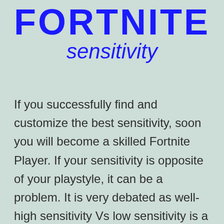FORTNITE sensitivity
If you successfully find and customize the best sensitivity, soon you will become a skilled Fortnite Player. If your sensitivity is opposite of your playstyle, it can be a problem. It is very debated as well- high sensitivity Vs low sensitivity is a popular debate in the Fortnite community. There is nothing such as perfect… Continue reading